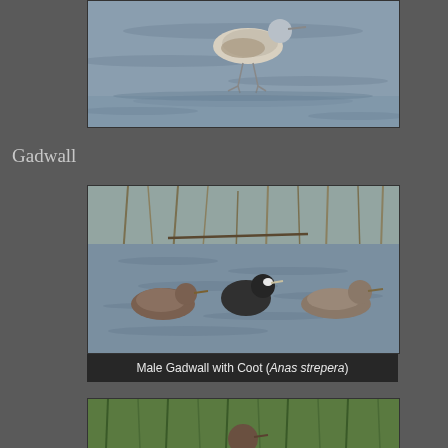[Figure (photo): A wading bird (shorebird) walking on shallow water, shown from above mid-section, with blue-grey rippled water in background]
Gadwall
[Figure (photo): Male Gadwall ducks swimming with an American Coot on rippled blue water with reeds/vegetation in background. Caption reads: Male Gadwall with Coot (Anas strepera)]
Male Gadwall with Coot (Anas strepera)
[Figure (photo): Partial view of birds in green vegetation/reeds at bottom of page]